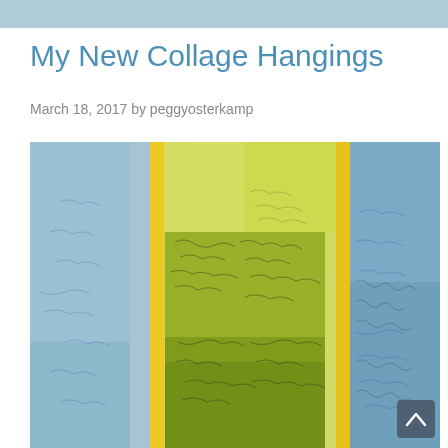My New Collage Hangings
March 18, 2017 by peggyosterkamp
[Figure (photo): A textile collage artwork featuring vertical yellow/gold ribbons/strips dividing sections of blue and yellow-green dyed fabric with free-motion stitching details creating abstract landscape-like composition]